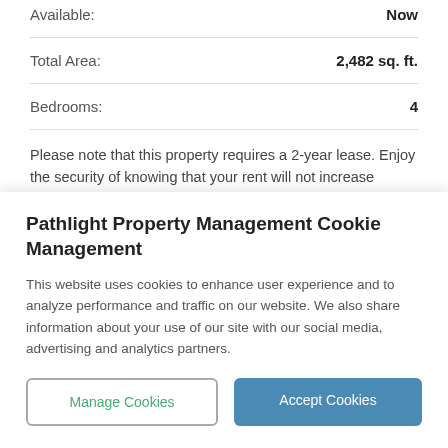Available: Now
Total Area: 2,482 sq. ft.
Bedrooms: 4
Please note that this property requires a 2-year lease. Enjoy the security of knowing that your rent will not increase during the 2 year term – APPLY TODAY!
Pathlight Property Management Cookie Management
This website uses cookies to enhance user experience and to analyze performance and traffic on our website. We also share information about your use of our site with our social media, advertising and analytics partners.
Manage Cookies
Accept Cookies